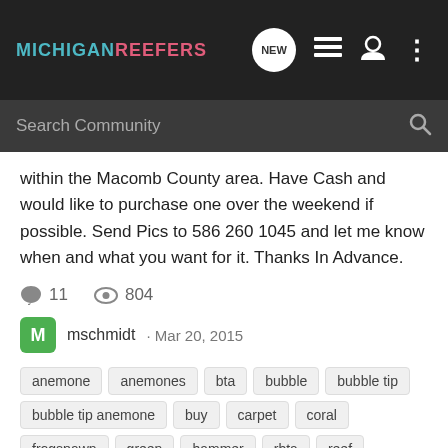MICHIGAN REEFERS
within the Macomb County area. Have Cash and would like to purchase one over the weekend if possible. Send Pics to 586 260 1045 and let me know when and what you want for it. Thanks In Advance.
11 comments • 804 views
mschmidt · Mar 20, 2015
anemone
anemones
bta
bubble
bubble tip
bubble tip anemone
buy
carpet
coral
frogspawn
green
hammer
rbta
reef
reef solutions
rose
sebae anemone
tips
torch
What kind of nem??
Anemones & Clownfish